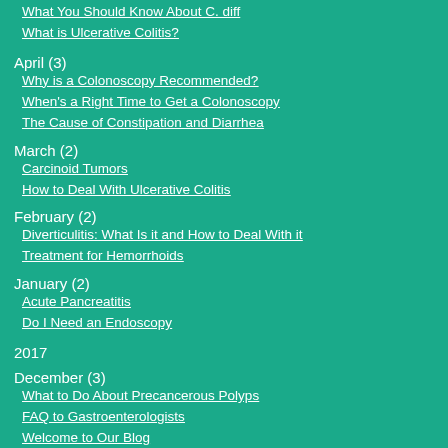What You Should Know About C. diff
What is Ulcerative Colitis?
April (3)
Why is a Colonoscopy Recommended?
When's a Right Time to Get a Colonoscopy
The Cause of Constipation and Diarrhea
March (2)
Carcinoid Tumors
How to Deal With Ulcerative Colitis
February (2)
Diverticulitis: What Is it and How to Deal With it
Treatment for Hemorrhoids
January (2)
Acute Pancreatitis
Do I Need an Endoscopy
2017
December (3)
What to Do About Precancerous Polyps
FAQ to Gastroenterologists
Welcome to Our Blog